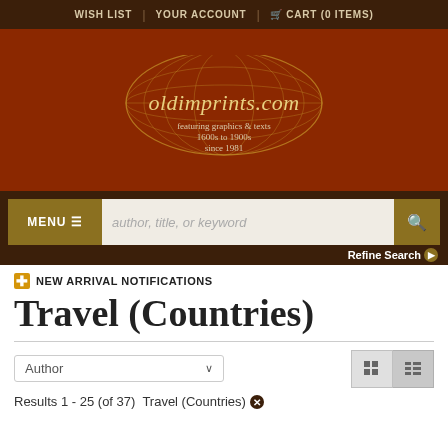WISH LIST | YOUR ACCOUNT | CART (0 ITEMS)
[Figure (logo): oldimprints.com website logo featuring a globe/map graphic with oval shape and text 'oldimprints.com' and tagline 'featuring graphics & texts 1600s to 1900s since 1981']
MENU  author, title, or keyword  Refine Search
NEW ARRIVAL NOTIFICATIONS
Travel (Countries)
Author
Results 1 - 25 (of 37)  Travel (Countries)